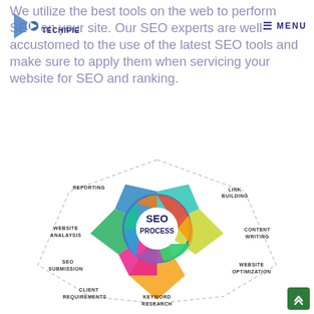TECHIPIE — MENU
We utilize the best tools on the web to perform SEO on your site. Our SEO experts are well-accustomed to the use of the latest SEO tools and make sure to apply them when servicing your website for SEO and ranking.
[Figure (infographic): SEO Process radar/spider diagram with colored segments labeled: REPORTING, LINK BUILDING, WEBSITE ANALAYSIS, CONTENT WRITING, SEO SUBMISSION, WEBSITE OPTIMIZATION, CLIENT REQUIREMENTS, KEYWORD RESEARCH. Center text reads 'SEO PROCESS'.]